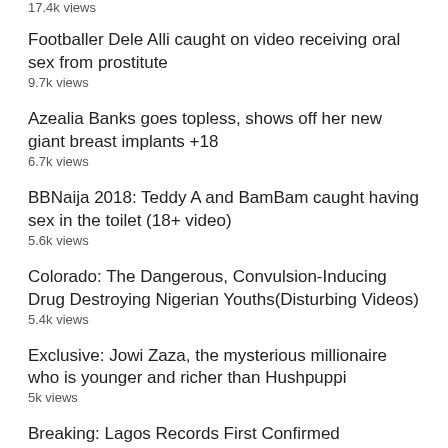17.4k views
Footballer Dele Alli caught on video receiving oral sex from prostitute
9.7k views
Azealia Banks goes topless, shows off her new giant breast implants +18
6.7k views
BBNaija 2018: Teddy A and BamBam caught having sex in the toilet (18+ video)
5.6k views
Colorado: The Dangerous, Convulsion-Inducing Drug Destroying Nigerian Youths(Disturbing Videos)
5.4k views
Exclusive: Jowi Zaza, the mysterious millionaire who is younger and richer than Hushpuppi
5k views
Breaking: Lagos Records First Confirmed